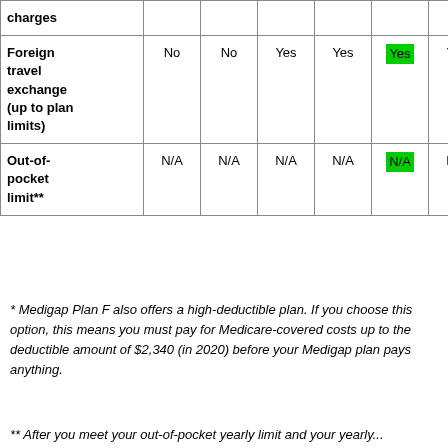|  |  |  |  |  |  |  |  |
| --- | --- | --- | --- | --- | --- | --- | --- |
| charges |  |  |  |  |  |  |  |
| Foreign travel exchange (up to plan limits) | No | No | Yes | Yes | Yes | Yes | No |
| Out-of-pocket limit** | N/A | N/A | N/A | N/A | N/A | N/A | $5,8... |
* Medigap Plan F also offers a high-deductible plan. If you choose this option, this means you must pay for Medicare-covered costs up to the deductible amount of $2,340 (in 2020) before your Medigap plan pays anything.
** After you meet your out-of-pocket yearly limit and your yearly...